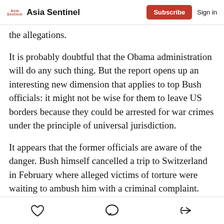Asia Sentinel | Subscribe | Sign in
the allegations.
It is probably doubtful that the Obama administration will do any such thing. But the report opens up an interesting new dimension that applies to top Bush officials: it might not be wise for them to leave US borders because they could be arrested for war crimes under the principle of universal jurisdiction.
It appears that the former officials are aware of the danger. Bush himself cancelled a trip to Switzerland in February where alleged victims of torture were waiting to ambush him with a criminal complaint. Few others